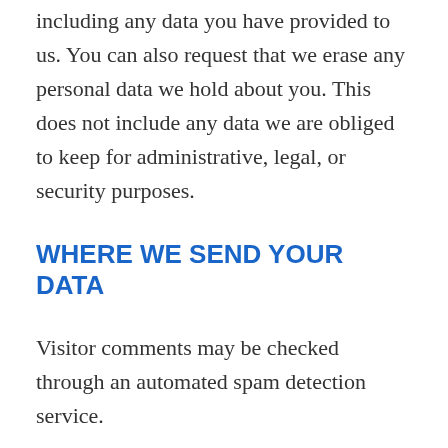including any data you have provided to us. You can also request that we erase any personal data we hold about you. This does not include any data we are obliged to keep for administrative, legal, or security purposes.
WHERE WE SEND YOUR DATA
Visitor comments may be checked through an automated spam detection service.
CALIFORNIA ONLINE PRIVACY PROTECTION ACT